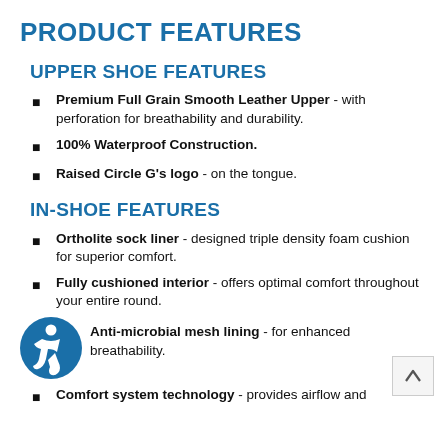PRODUCT FEATURES
UPPER SHOE FEATURES
Premium Full Grain Smooth Leather Upper - with perforation for breathability and durability.
100% Waterproof Construction.
Raised Circle G's logo - on the tongue.
IN-SHOE FEATURES
Ortholite sock liner - designed triple density foam cushion for superior comfort.
Fully cushioned interior - offers optimal comfort throughout your entire round.
Anti-microbial mesh lining - for enhanced breathability.
Comfort system technology - provides airflow and ...